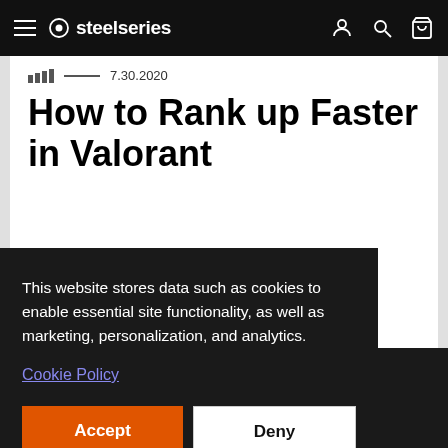steelseries — navigation bar with hamburger menu, logo, account, search, and cart icons
7.30.2020
How to Rank up Faster in Valorant
Climb the ranked ladder by understanding the most important
This website stores data such as cookies to enable essential site functionality, as well as marketing, personalization, and analytics.
Cookie Policy
Accept
Deny